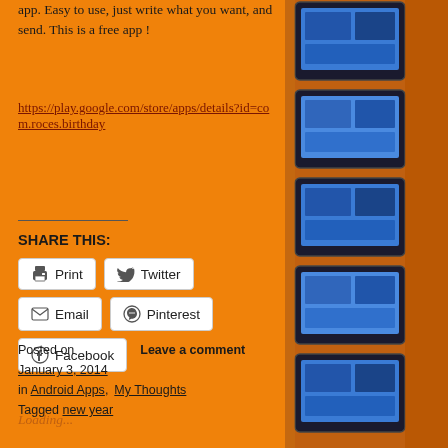app.  Easy to use, just write what you want, and send.  This is a free app !
https://play.google.com/store/apps/details?id=com.roces.birthday
SHARE THIS:
Print  Twitter  Email  Pinterest  Facebook
Loading...
Posted on  Leave a comment
January 3, 2014
in Android Apps, My Thoughts
Tagged new year
[Figure (photo): Stack of tablet computers photographed repeatedly in a vertical strip on the right side of the page]